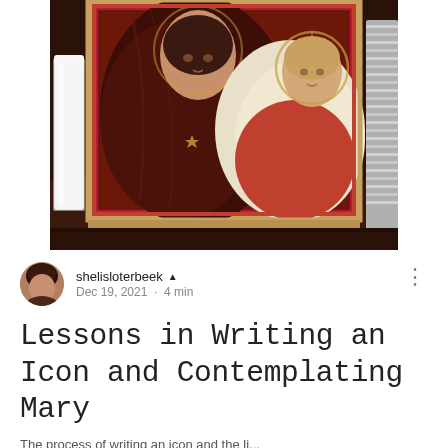[Figure (photo): A religious icon painting of Mary and the Christ child, displayed on a wooden table with a white candle on the left and stacked plates/bowls on the right. The icon features deep burgundy, gold, and red tones in a traditional Byzantine style.]
shelisloterbeek ▲ Dec 19, 2021 · 4 min
Lessons in Writing an Icon and Contemplating Mary
The process of writing an icon and the li...